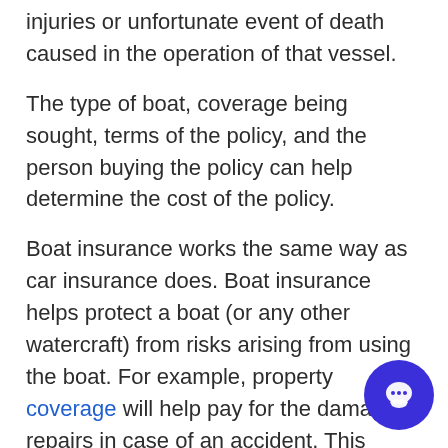injuries or unfortunate event of death caused in the operation of that vessel.
The type of boat, coverage being sought, terms of the policy, and the person buying the policy can help determine the cost of the policy.
Boat insurance works the same way as car insurance does. Boat insurance helps protect a boat (or any other watercraft) from risks arising from using the boat. For example, property coverage will help pay for the damage repairs in case of an accident. This coverage helps in both water and land and in case of the boat’s theft.
Arkansas and Utah, only two states, have boat insurance laws. Only these two states require some type of boat